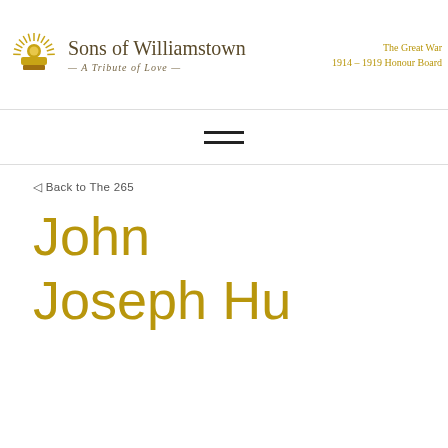Sons of Williamstown — A Tribute of Love — The Great War 1914–1919 Honour Board
[Figure (logo): Australian rising sun military emblem in gold]
◁ Back to The 265
John Joseph Hu